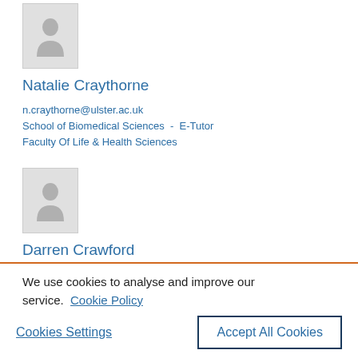[Figure (photo): Placeholder profile photo of Natalie Craythorne (grey silhouette on light grey background)]
Natalie Craythorne
n.craythorne@ulster.ac.uk
School of Biomedical Sciences - E-Tutor
Faculty Of Life & Health Sciences
[Figure (photo): Placeholder profile photo of Darren Crawford (grey silhouette on light grey background)]
Darren Crawford
We use cookies to analyse and improve our service. Cookie Policy
Cookies Settings   Accept All Cookies